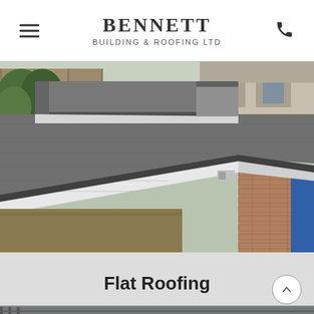BENNETT BUILDING & ROOFING LTD
[Figure (photo): Photograph of a flat roof installation showing dark grey rubber/felt roofing material over a brick extension, viewed from an angle. Background shows garden fencing, grass and neighbouring house.]
Flat Roofing
[Figure (photo): Partial view of another roofing project visible at the bottom edge of the page.]